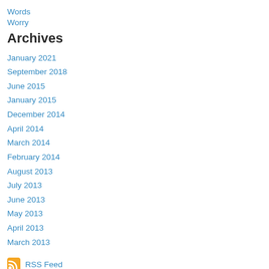Words
Worry
Archives
January 2021
September 2018
June 2015
January 2015
December 2014
April 2014
March 2014
February 2014
August 2013
July 2013
June 2013
May 2013
April 2013
March 2013
RSS Feed